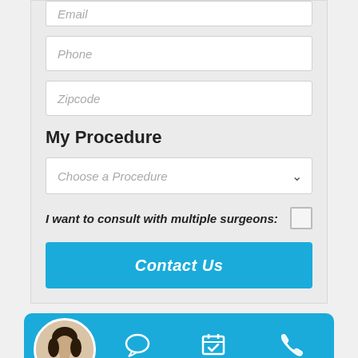Email
Phone
Zipcode
My Procedure
Choose a Procedure
I want to consult with multiple surgeons:
Contact Us
[Figure (infographic): Bottom contact bar with a circular avatar photo of a woman, and three icons: Chat (speech bubble), Schedule (calendar with checkmark), Call (phone)]